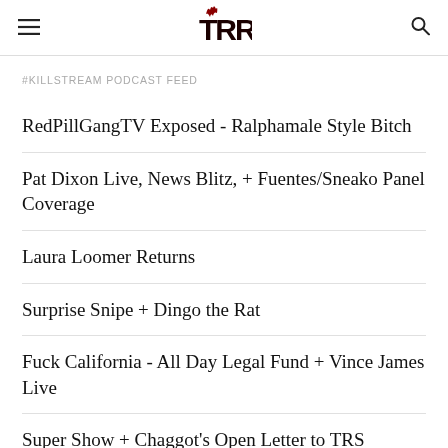TRR
#KILLSTREAM PODCAST FEED
RedPillGangTV Exposed - Ralphamale Style Bitch
Pat Dixon Live, News Blitz, + Fuentes/Sneako Panel Coverage
Laura Loomer Returns
Surprise Snipe + Dingo the Rat
Fuck California - All Day Legal Fund + Vince James Live
Super Show + Chaggot's Open Letter to TRS